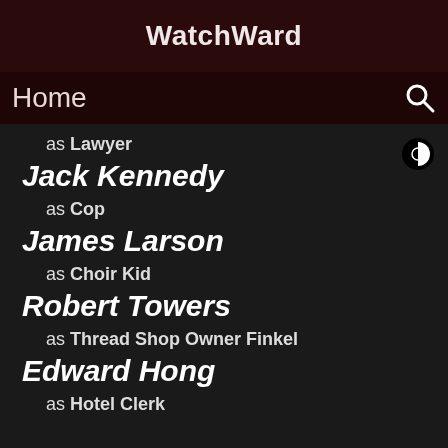WatchWard
Home
as Lawyer
Jack Kennedy
as Cop
James Larson
as Choir Kid
Robert Towers
as Thread Shop Owner Finkel
Edward Hong
as Hotel Clerk